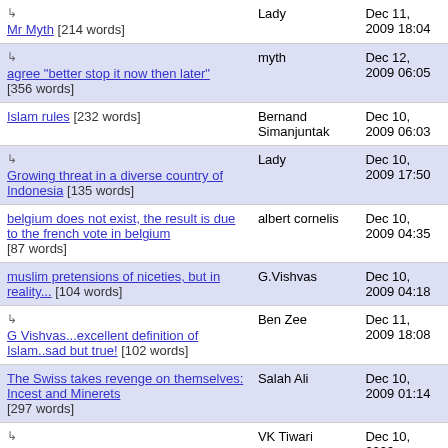| Title | Author | Date |
| --- | --- | --- |
| ↳ Mr Myth [214 words] | Lady | Dec 11, 2009 18:04 |
| ↳ agree "better stop it now then later" [356 words] | myth | Dec 12, 2009 06:05 |
| Islam rules [232 words] | Bernand Simanjuntak | Dec 10, 2009 06:03 |
| ↳ Growing threat in a diverse country of Indonesia [135 words] | Lady | Dec 10, 2009 17:50 |
| belgium does not exist, the result is due to the french vote in belgium [87 words] | albert cornelis | Dec 10, 2009 04:35 |
| muslim pretensions of niceties, but in reality... [104 words] | G.Vishvas | Dec 10, 2009 04:18 |
| ↳ G Vishvas...excellent definition of Islam..sad but true! [102 words] | Ben Zee | Dec 11, 2009 18:08 |
| The Swiss takes revenge on themselves: Incest and Minerets [297 words] | Salah Ali | Dec 10, 2009 01:14 |
| ↳ Familiar double standard of a co... | VK Tiwari | Dec 10, 2009 |